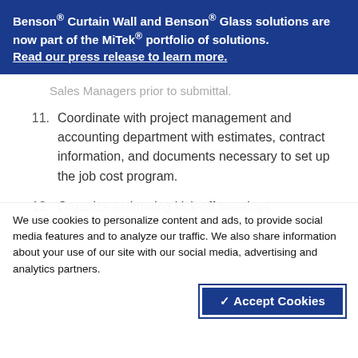Benson® Curtain Wall and Benson® Glass solutions are now part of the MiTek® portfolio of solutions. Read our press release to learn more.
Sales Managers prior to submittal.
11. Coordinate with project management and accounting department with estimates, contract information, and documents necessary to set up the job cost program.
12. Organize estimating kick-off meetings to outline the project scope, cost and
We use cookies to personalize content and ads, to provide social media features and to analyze our traffic. We also share information about your use of our site with our social media, advertising and analytics partners.